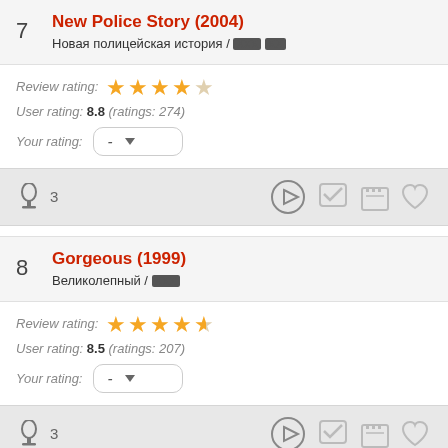7 New Police Story (2004) / Новая полицейская история / XXX XX
Review rating: ★★★★☆
User rating: 8.8 (ratings: 274)
Your rating: -
3 [play] [checkmark] [popcorn] [heart]
8 Gorgeous (1999) / Великолепный / XXX
Review rating: ★★★★½
User rating: 8.5 (ratings: 207)
Your rating: -
3 [play] [checkmark] [popcorn] [heart]